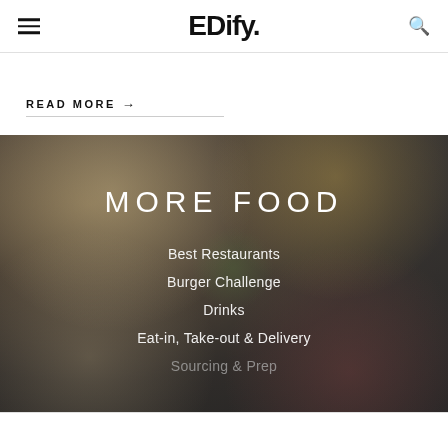EDify.
READ MORE →
[Figure (photo): Overhead view of various food dishes on a dark table with a menu overlay showing MORE FOOD category links]
MORE FOOD
Best Restaurants
Burger Challenge
Drinks
Eat-in, Take-out & Delivery
Sourcing & Prep